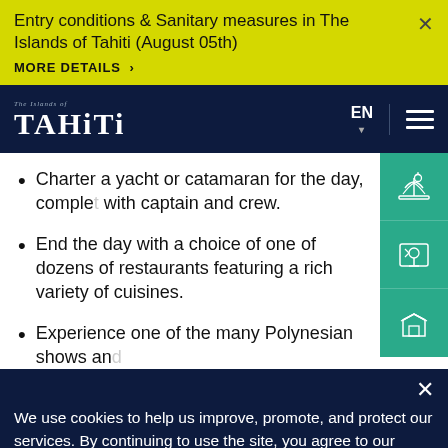Entry conditions & Sanitary measures in The Islands of Tahiti (August 05th)
MORE DETAILS >
[Figure (logo): The Islands of Tahiti logo in white text on dark navy background]
Charter a yacht or catamaran for the day, complete with captain and crew.
End the day with a choice of one of dozens of restaurants featuring a rich variety of cuisines.
Experience one of the many Polynesian shows and...
We use cookies to help us improve, promote, and protect our services. By continuing to use the site, you agree to our cookie policy.